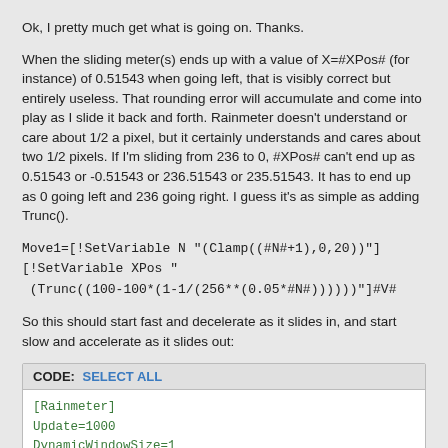Ok, I pretty much get what is going on. Thanks.
When the sliding meter(s) ends up with a value of X=#XPos# (for instance) of 0.51543 when going left, that is visibly correct but entirely useless. That rounding error will accumulate and come into play as I slide it back and forth. Rainmeter doesn't understand or care about 1/2 a pixel, but it certainly understands and cares about two 1/2 pixels. If I'm sliding from 236 to 0, #XPos# can't end up as 0.51543 or -0.51543 or 236.51543 or 235.51543. It has to end up as 0 going left and 236 going right. I guess it's as simple as adding Trunc().
Move1=[!SetVariable N "(Clamp((#N#+1),0,20))"][!SetVariable XPos "(Trunc((100-100*(1-1/(256**(0.05*#N#))))))"]#V#
So this should start fast and decelerate as it slides in, and start slow and accelerate as it slides out:
[Figure (screenshot): Code block with header 'CODE: SELECT ALL' and code content showing [Rainmeter], Update=1000, DynamicWindowSize=1, AccurateText=1, SkinWidth=200]